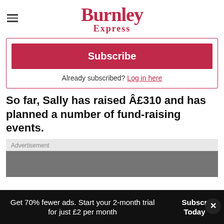Burnley Express
Subscribe
Already subscribed? Log in here
So far, Sally has raised £310 and has planned a number of fund-raising events.
Advertisement
Get 70% fewer ads. Start your 2-month trial for just £2 per month
Subscribe Today